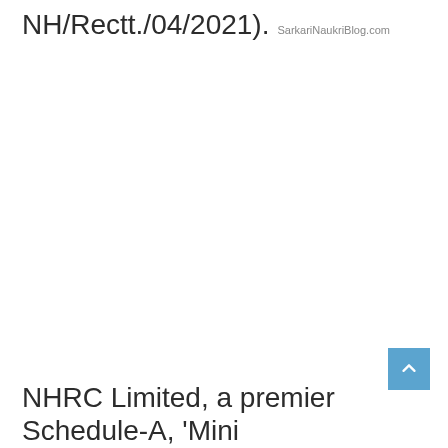NH/Rectt./04/2021). SarkariNaukriBlog.com
NHRC Limited, a premier Schedule-A, 'Mini